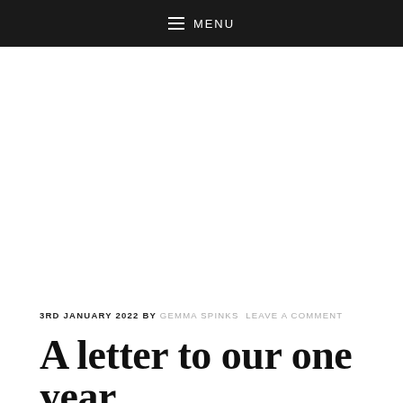MENU
3RD JANUARY 2022 BY GEMMA SPINKS LEAVE A COMMENT
A letter to our one year